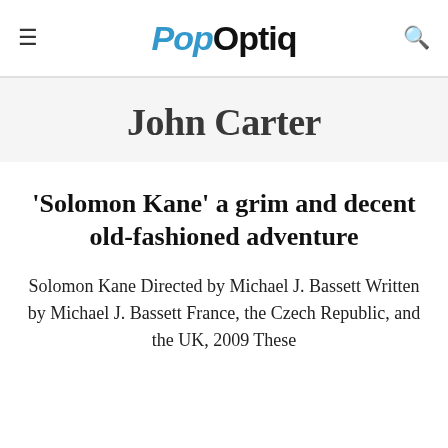PopOptiq
John Carter
'Solomon Kane' a grim and decent old-fashioned adventure
Solomon Kane Directed by Michael J. Bassett Written by Michael J. Bassett France, the Czech Republic, and the UK, 2009 These